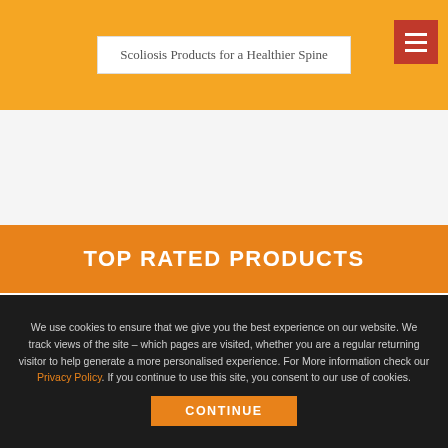Scoliosis Products for a Healthier Spine
TOP RATED PRODUCTS
Your Plan for Natural Scoliosis Prevention & Treatment (5th Edition)
★★★★★
$65.00 SGD
We use cookies to ensure that we give you the best experience on our website. We track views of the site – which pages are visited, whether you are a regular returning visitor to help generate a more personalised experience. For More information check our Privacy Policy. If you continue to use this site, you consent to our use of cookies.
CONTINUE